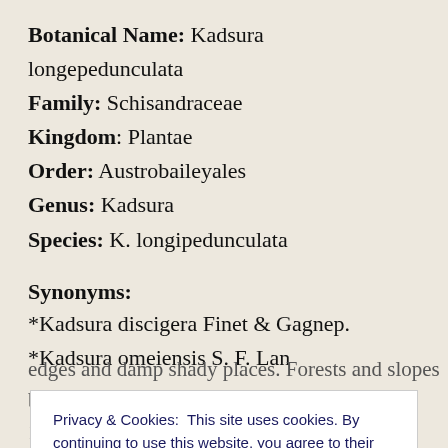Botanical Name: Kadsura longepedunculata
Family: Schisandraceae
Kingdom: Plantae
Order: Austrobaileyales
Genus: Kadsura
Species: K. longipedunculata
Synonyms:
*Kadsura discigera Finet & Gagnep.
*Kadsura omeiensis S. F. Lan
Privacy & Cookies: This site uses cookies. By continuing to use this website, you agree to their use. To find out more, including how to control cookies, see here: Cookie Policy
CLOSE AND ACCEPT
edges and damp shady places. Forests and slopes below 1000...